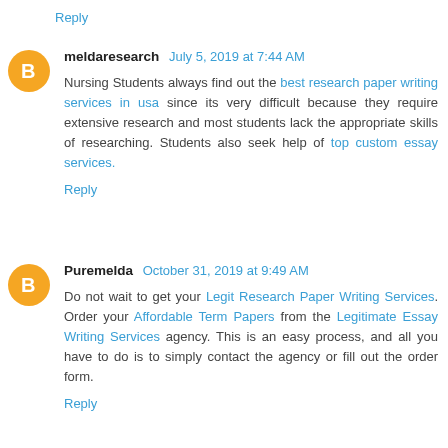Reply
meldaresearch July 5, 2019 at 7:44 AM
Nursing Students always find out the best research paper writing services in usa since its very difficult because they require extensive research and most students lack the appropriate skills of researching. Students also seek help of top custom essay services.
Reply
Puremelda October 31, 2019 at 9:49 AM
Do not wait to get your Legit Research Paper Writing Services. Order your Affordable Term Papers from the Legitimate Essay Writing Services agency. This is an easy process, and all you have to do is to simply contact the agency or fill out the order form.
Reply